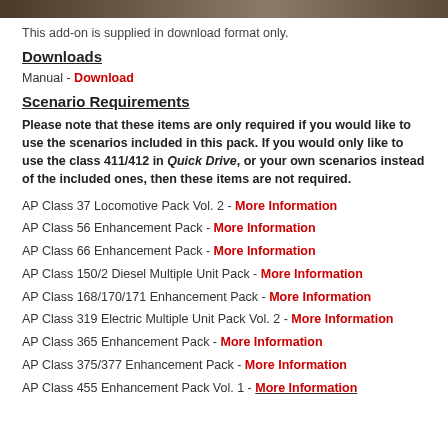[Figure (photo): Partial photo strip at the top of the page showing a train scene]
This add-on is supplied in download format only.
Downloads
Manual - Download
Scenario Requirements
Please note that these items are only required if you would like to use the scenarios included in this pack. If you would only like to use the class 411/412 in Quick Drive, or your own scenarios instead of the included ones, then these items are not required.
AP Class 37 Locomotive Pack Vol. 2 - More Information
AP Class 56 Enhancement Pack - More Information
AP Class 66 Enhancement Pack - More Information
AP Class 150/2 Diesel Multiple Unit Pack - More Information
AP Class 168/170/171 Enhancement Pack - More Information
AP Class 319 Electric Multiple Unit Pack Vol. 2 - More Information
AP Class 365 Enhancement Pack - More Information
AP Class 375/377 Enhancement Pack - More Information
AP Class 455 Enhancement Pack Vol. 1 - More Information